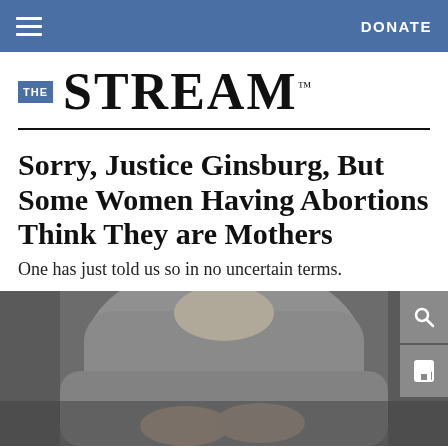THE STREAM — navigation bar with hamburger menu and DONATE button
[Figure (logo): The Stream logo: blue box with THE text, followed by large serif STREAM™ text]
Sorry, Justice Ginsburg, But Some Women Having Abortions Think They are Mothers
One has just told us so in no uncertain terms.
[Figure (photo): Black and white photo of a person in a sweater with hands clasped over their midsection/abdomen]